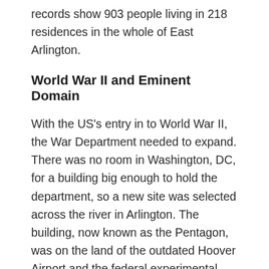records show 903 people living in 218 residences in the whole of East Arlington.
World War II and Eminent Domain
With the US's entry in to World War II, the War Department needed to expand. There was no room in Washington, DC, for a building big enough to hold the department, so a new site was selected across the river in Arlington. The building, now known as the Pentagon, was on the land of the outdated Hoover Airport and the federal experimental farm, but additional space would be needed for parking and roads serving the complex. The East Arlington neighborhood, and Queen City within it,